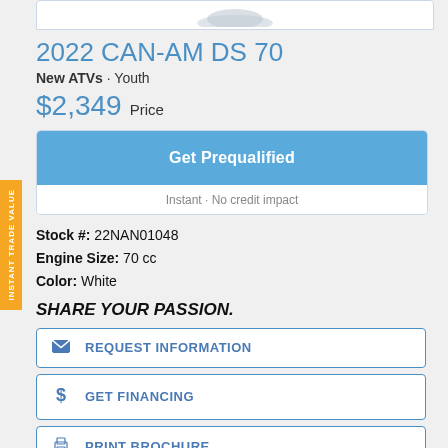[Figure (photo): Top portion of a vehicle/ATV product image, partially visible at the top of the page]
2022 CAN-AM DS 70
New ATVs · Youth
$2,349  Price
Get Prequalified
Instant · No credit impact
Stock #:  22NAN01048
Engine Size:  70 cc
Color:  White
SHARE YOUR PASSION.
REQUEST INFORMATION
GET FINANCING
PRINT BROCHURE